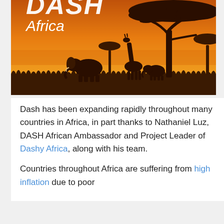[Figure (illustration): Dash Africa banner image with orange/golden sunset sky, silhouettes of African savanna trees, elephants, and a giraffe. Large white italic 'DASH' text partially visible at top and white italic 'Africa' text below it.]
Dash has been expanding rapidly throughout many countries in Africa, in part thanks to Nathaniel Luz, DASH African Ambassador and Project Leader of Dashy Africa, along with his team.
Countries throughout Africa are suffering from high inflation due to poor